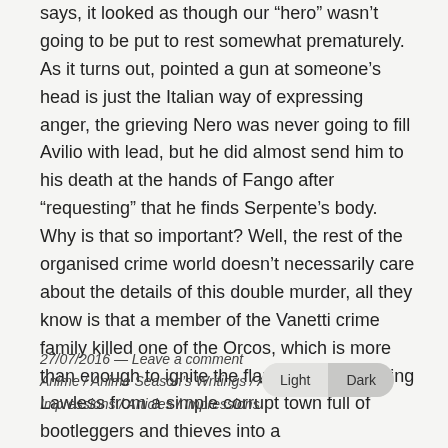says, it looked as though our “hero” wasn’t going to be put to rest somewhat prematurely. As it turns out, pointed a gun at someone’s head is just the Italian way of expressing anger, the grieving Nero was never going to fill Avilio with lead, but he did almost send him to his death at the hands of Fango after “requesting” that he finds Serpente’s body. Why is that so important? Well, the rest of the organised crime world doesn’t necessarily care about the details of this double murder, all they know is that a member of the Vanetti crime family killed one of the Orcos, which is more than enough to ignite the flames of war, turning Lawless from a simple corrupt town full of bootleggers and thieves into a battlefield...come to think ...
27/07/2016 — Leave a comment
Anime / Anime Season’s Writings / Anime/Manga Impressions / Articles / Impressions